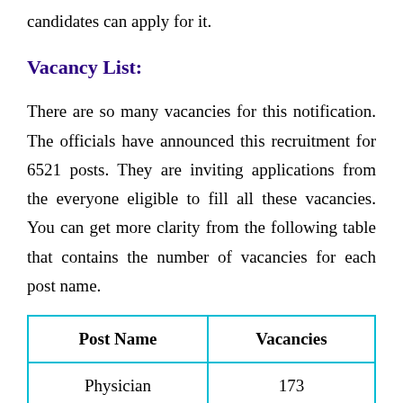candidates can apply for it.
Vacancy List:
There are so many vacancies for this notification. The officials have announced this recruitment for 6521 posts. They are inviting applications from the everyone eligible to fill all these vacancies. You can get more clarity from the following table that contains the number of vacancies for each post name.
| Post Name | Vacancies |
| --- | --- |
| Physician | 173 |